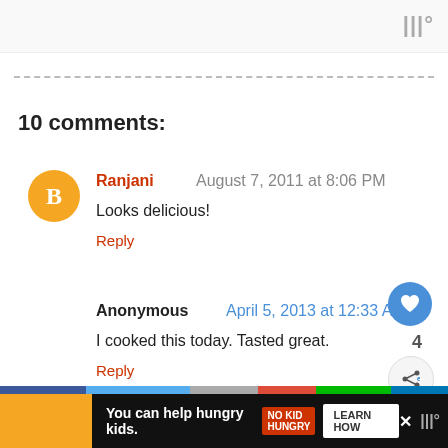|||°
10 comments:
Ranjani  August 7, 2011 at 8:06 PM
Looks delicious!
Reply
Anonymous  April 5, 2013 at 12:33 AM
I cooked this today. Tasted great.
Reply
[Figure (screenshot): Ad banner: You can help hungry kids. NO KID HUNGRY. LEARN HOW]
You can help hungry kids. LEARN HOW